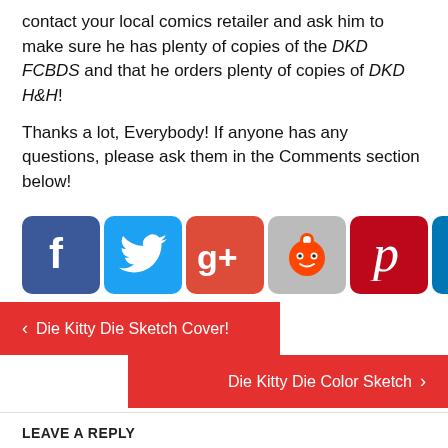contact your local comics retailer and ask him to make sure he has plenty of copies of the DKD FCBDS and that he orders plenty of copies of DKD H&H!
Thanks a lot, Everybody! If anyone has any questions, please ask them in the Comments section below!
[Figure (infographic): Row of social media share buttons: Facebook, Twitter, Google+, Reddit, Pinterest, LinkedIn, Email]
[Figure (infographic): Navigation buttons: left arrow 'Die Kitty Die Sketch Cover!' and right arrow 'Die Kitty Die Color Sketch']
LEAVE A REPLY
You must be logged in to post a comment.